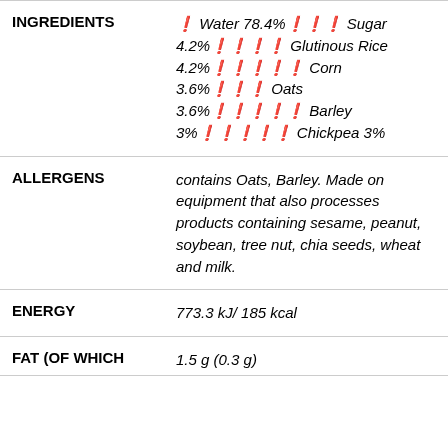| Field | Value |
| --- | --- |
| INGREDIENTS | ❧ Water 78.4%🌾🌾🌾 Sugar 4.2%🌾🌾🌾🌾 Glutinous Rice 4.2%🌾🌾🌾🌾🌾 Corn 3.6%🌾🌾🌾 Oats 3.6%🌾🌾🌾🌾🌾 Barley 3%🌾🌾🌾🌾🌾 Chickpea 3% |
| ALLERGENS | contains Oats, Barley. Made on equipment that also processes products containing sesame, peanut, soybean, tree nut, chia seeds, wheat and milk. |
| ENERGY | 773.3 kJ/ 185 kcal |
| FAT (OF WHICH | 1.5 g (0.3 g) |